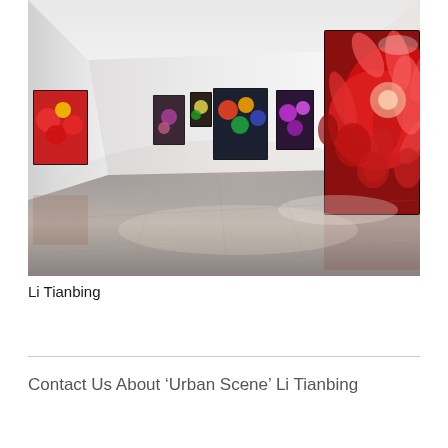[Figure (photo): Interior of an art gallery with white walls and polished concrete floor. Several large-format photographic prints of colorful flowers are displayed on the walls. A very large red chrysanthemum photograph dominates the right wall. The gallery perspective draws the eye down a long corridor.]
Li Tianbing
Contact Us About ‘Urban Scene’ Li Tianbing